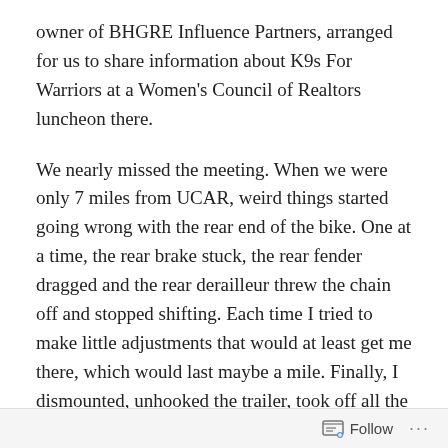owner of BHGRE Influence Partners, arranged for us to share information about K9s For Warriors at a Women's Council of Realtors luncheon there.
We nearly missed the meeting. When we were only 7 miles from UCAR, weird things started going wrong with the rear end of the bike. One at a time, the rear brake stuck, the rear fender dragged and the rear derailleur threw the chain off and stopped shifting. Each time I tried to make little adjustments that would at least get me there, which would last maybe a mile. Finally, I dismounted, unhooked the trailer, took off all the bags and sat down to get a close look at what was going on. Now I could see what all that gear (and my hurry to get somewhere) had been concealing: After about a thousand miles of hauling
Follow ···